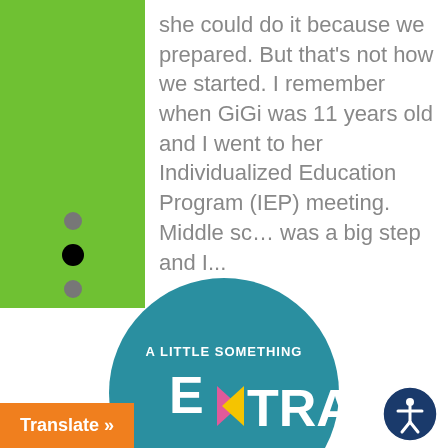she could do it because we prepared. But that's not how we started. I remember when GiGi was 11 years old and I went to her Individualized Education Program (IEP) meeting. Middle school was a big step and I...
[Figure (logo): A Little Something Extra podcast logo — teal circle with white text 'A LITTLE SOMETHING EXTRA' and colorful arrow design, subtitle 'with Nancy Gianni & The GiGi']
Translate »